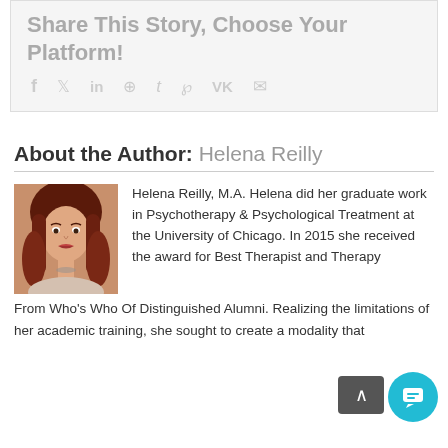Share This Story, Choose Your Platform!
[Figure (illustration): Social media sharing icons: facebook (f), twitter, linkedin (in), reddit, tumblr (t), pinterest, VK, email envelope]
About the Author: Helena Reilly
[Figure (photo): Photo of Helena Reilly, a woman with long auburn/red hair]
Helena Reilly, M.A. Helena did her graduate work in Psychotherapy & Psychological Treatment at the University of Chicago. In 2015 she received the award for Best Therapist and Therapy From Who's Who Of Distinguished Alumni. Realizing the limitations of her academic training, she sought to create a modality that